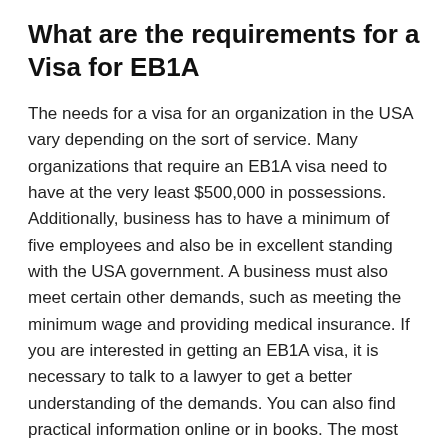What are the requirements for a Visa for EB1A
The needs for a visa for an organization in the USA vary depending on the sort of service. Many organizations that require an EB1A visa need to have at the very least $500,000 in possessions. Additionally, business has to have a minimum of five employees and also be in excellent standing with the USA government. A business must also meet certain other demands, such as meeting the minimum wage and providing medical insurance. If you are interested in getting an EB1A visa, it is necessary to talk to a lawyer to get a better understanding of the demands. You can also find practical information online or in books. The most effective method to find out about the needs is to discover a business that needs an EB1A visa as well as begin working. After you have begun your business, you can discover more information online or in books.